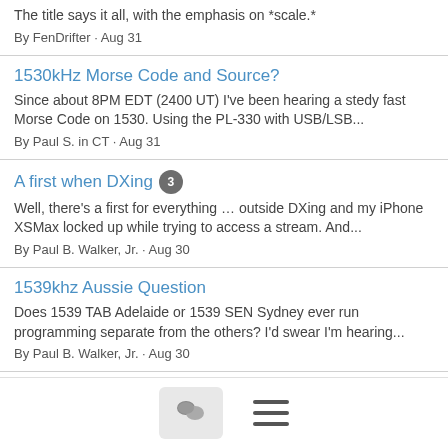The title says it all, with the emphasis on *scale.*
By FenDrifter · Aug 31
1530kHz Morse Code and Source?
Since about 8PM EDT (2400 UT) I've been hearing a stedy fast Morse Code on 1530. Using the PL-330 with USB/LSB...
By Paul S. in CT · Aug 31
A first when DXing 3
Well, there's a first for everything … outside DXing and my iPhone XSMax locked up while trying to access a stream. And...
By Paul B. Walker, Jr. · Aug 30
1539khz Aussie Question
Does 1539 TAB Adelaide or 1539 SEN Sydney ever run programming separate from the others? I'd swear I'm hearing...
By Paul B. Walker, Jr. · Aug 30
Tecsun AN-200 = Sutekus 24
Hi all I just received today from Amazon a Sutekus loop antenna,